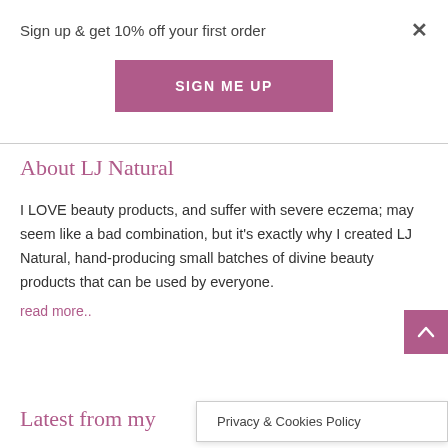Sign up & get 10% off your first order
SIGN ME UP
About LJ Natural
I LOVE beauty products, and suffer with severe eczema; may seem like a bad combination, but it's exactly why I created LJ Natural, hand-producing small batches of divine beauty products that can be used by everyone.
read more..
Latest from my
Privacy & Cookies Policy